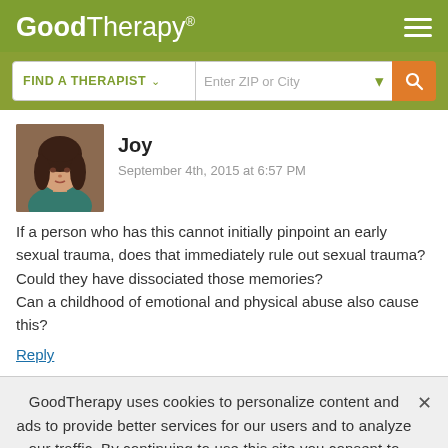GoodTherapy®
[Figure (screenshot): GoodTherapy website header with logo and hamburger menu on olive-green background]
[Figure (screenshot): Find a therapist search bar with ZIP or City input and orange search button]
[Figure (photo): Profile photo of commenter Joy, a woman with long dark hair]
Joy
September 4th, 2015 at 6:57 PM
If a person who has this cannot initially pinpoint an early sexual trauma, does that immediately rule out sexual trauma? Could they have dissociated those memories?
Can a childhood of emotional and physical abuse also cause this?
Reply
GoodTherapy uses cookies to personalize content and ads to provide better services for our users and to analyze our traffic. By continuing to use this site you consent to our cookies.